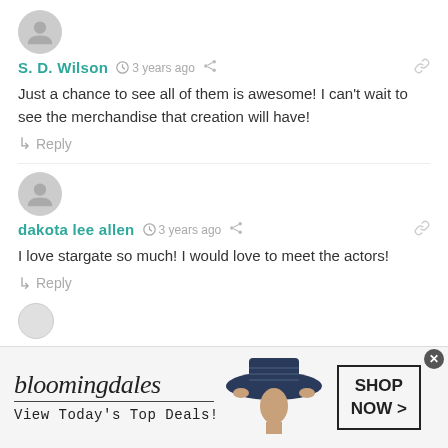S. D. Wilson  3 years ago
Just a chance to see all of them is awesome! I can't wait to see the merchandise that creation will have!
Reply
dakota lee allen  3 years ago
I love stargate so much! I would love to meet the actors!
Reply
[Figure (screenshot): Bloomingdale's advertisement banner: 'View Today's Top Deals!' with SHOP NOW button and woman in blue hat]